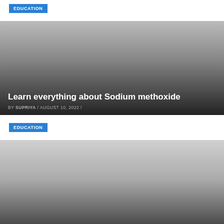EDUCATION
[Figure (photo): Article card image with dark gradient overlay for sodium methoxide article]
Learn everything about Sodium methoxide
BY SUPRIYA / AUGUST 10, 2022 /
EDUCATION
[Figure (photo): Article card image with light-to-dark gradient for aluminium bromide article]
Complete Lesson on Aluminium Bromide